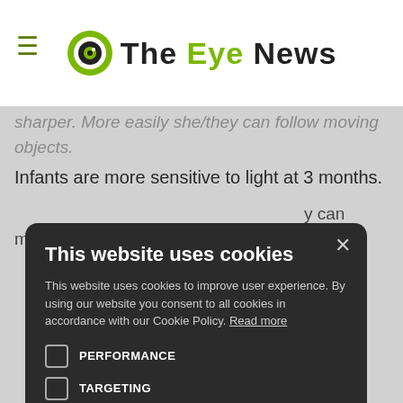The Eye News
sharper. More easily she/they can follow moving objects.
Infants are more sensitive to light at 3 months.
…y can move
…bjects more
…stone
…e the first
…during the
…of the baby's
…ns of the
…dinated. This
is the period where parents need to make sure that the
[Figure (screenshot): Cookie consent modal overlay on The Eye News website. Title: 'This website uses cookies'. Body text: 'This website uses cookies to improve user experience. By using our website you consent to all cookies in accordance with our Cookie Policy. Read more'. Unchecked checkboxes for PERFORMANCE and TARGETING. Buttons: ACCEPT ALL (green) and DECLINE ALL (outlined). Show Details link at bottom. Close (X) button at top right.]